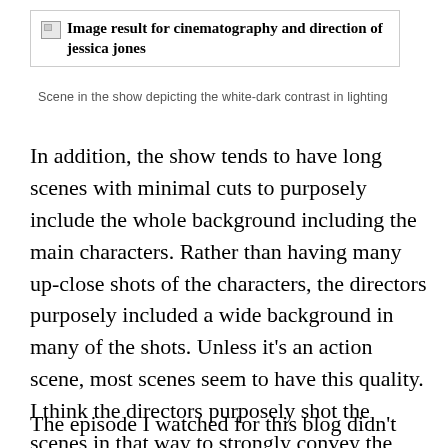[Figure (other): Broken image placeholder with text: Image result for cinematography and direction of jessica jones]
Scene in the show depicting the white-dark contrast in lighting
In addition, the show tends to have long scenes with minimal cuts to purposely include the whole background including the main characters. Rather than having many up-close shots of the characters, the directors purposely included a wide background in many of the shots. Unless it’s an action scene, most scenes seem to have this quality. I think the directors purposely shot the scenes in that way to strongly convey the dark tone used throughout the show.
The episode I watched for this blog didn’t appear to